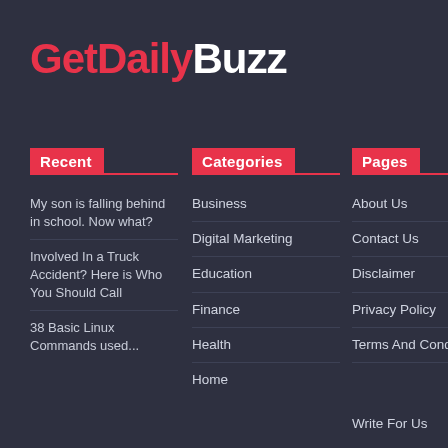GetDailyBuzz
Recent
Categories
Pages
My son is falling behind in school. Now what?
Involved In a Truck Accident? Here is Who You Should Call
38 Basic Linux Commands used...
Business
Digital Marketing
Education
Finance
Health
Home
About Us
Contact Us
Disclaimer
Privacy Policy
Terms And Conditions
Write For Us